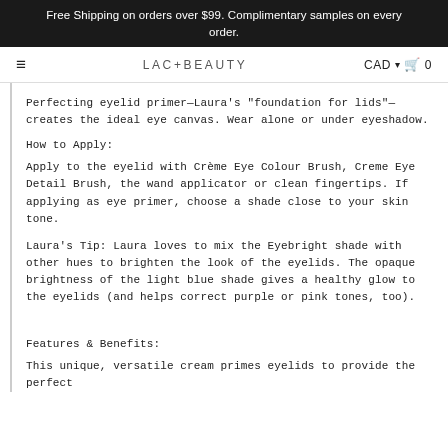Free Shipping on orders over $99. Complimentary samples on every order.
≡   LAC+BEAUTY   CAD ▾ 🛒 0
Perfecting eyelid primer—Laura's "foundation for lids"—creates the ideal eye canvas. Wear alone or under eyeshadow.
How to Apply:
Apply to the eyelid with Crème Eye Colour Brush, Creme Eye Detail Brush, the wand applicator or clean fingertips. If applying as eye primer, choose a shade close to your skin tone.
Laura's Tip: Laura loves to mix the Eyebright shade with other hues to brighten the look of the eyelids. The opaque brightness of the light blue shade gives a healthy glow to the eyelids (and helps correct purple or pink tones, too).
Features & Benefits:
This unique, versatile cream primes eyelids to provide the perfect